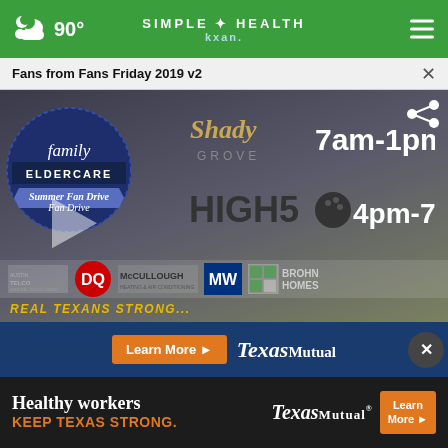90° | SIMPLE HEALTH | KXAN
Fans from Fans Friday 2019 v2
[Figure (screenshot): Video thumbnail for Family Eldercare Summer Fan Drive event. Shows circular Family Eldercare badge on left, Shady Grove logo with '7am-1pm', High 5 bowling logo with '4pm-7pm', sponsor logos including Austin Telco, DQ, McCullough Heating & Air Conditioning, MW, Brohn Homes. Play button visible. Scrolling text at bottom.]
[Figure (screenshot): Texas Mutual advertisement banner: 'Learn More' button with Texas Mutual logo and partial close X button.]
[Figure (screenshot): Texas Mutual advertisement banner: 'Healthy workers KEEP TEXAS STRONG.' with Texas Mutual logo and 'Learn More' button.]